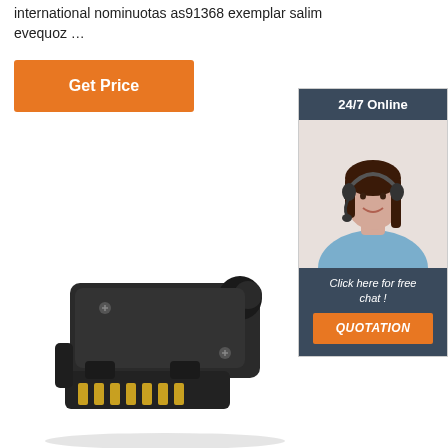international nominuotas as91368 exemplar salim evequoz …
[Figure (other): Orange 'Get Price' button]
[Figure (other): Sidebar with '24/7 Online' header, customer service representative photo, 'Click here for free chat!' text, and orange 'QUOTATION' button]
[Figure (photo): Black plastic 7-pin flat trailer connector plug with gold pins visible at the bottom]